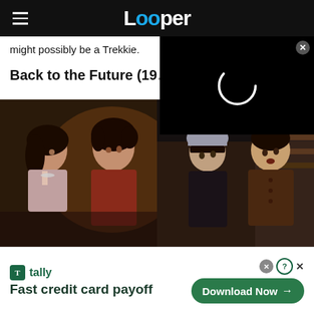Looper
might possibly be a Trekkie.
Back to the Future (19…
[Figure (screenshot): Black video player overlay with circular loading spinner and close button]
[Figure (photo): Movie still from Back to the Future showing two young people face to face (Lorraine and Marty McFly)]
[Figure (photo): Movie still showing a woman in a winter hat and a man in a brown coat looking upward]
🅃 tally   Fast credit card payoff   Download Now →